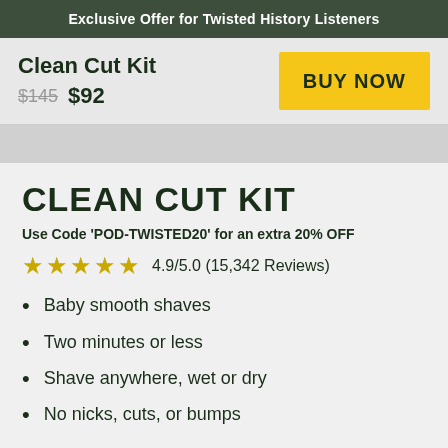Exclusive Offer for Twisted History Listeners
Clean Cut Kit
$145  $92
BUY NOW
CLEAN CUT KIT
Use Code 'POD-TWISTED20' for an extra 20% OFF
4.9/5.0 (15,342 Reviews)
Baby smooth shaves
Two minutes or less
Shave anywhere, wet or dry
No nicks, cuts, or bumps